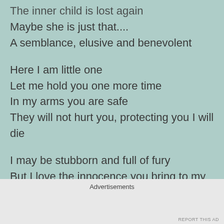The inner child is lost again (truncated at top)
Maybe she is just that....
A semblance, elusive and benevolent
Here I am little one
Let me hold you one more time
In my arms you are safe
They will not hurt you, protecting you I will die
I may be stubborn and full of fury
But I love the innocence you bring to my life
You are the light to my blind eyes (truncated)
Advertisements